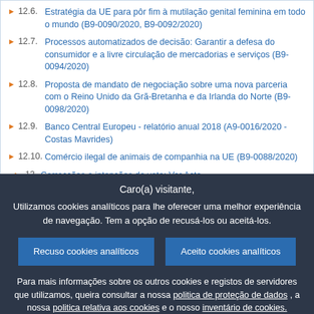12.6. Estratégia da UE para pôr fim à mutilação genital feminina em todo o mundo (B9-0090/2020, B9-0092/2020)
12.7. Processos automatizados de decisão: Garantir a defesa do consumidor e a livre circulação de mercadorias e serviços (B9-0094/2020)
12.8. Proposta de mandato de negociação sobre uma nova parceria com o Reino Unido da Grã-Bretanha e da Irlanda do Norte (B9-0098/2020)
12.9. Banco Central Europeu - relatório anual 2018 (A9-0016/2020 - Costas Mavrides)
12.10. Comércio ilegal de animais de companhia na UE (B9-0088/2020)
13. Correcções e intenções de voto: Ver Acta
Caro(a) visitante, Utilizamos cookies analíticos para lhe oferecer uma melhor experiência de navegação. Tem a opção de recusá-los ou aceitá-los.
Recuso cookies analíticos | Aceito cookies analíticos
Para mais informações sobre os outros cookies e registos de servidores que utilizamos, queira consultar a nossa politica de proteção de dados , a nossa politica relativa aos cookies e o nosso inventário de cookies.